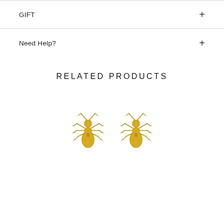GIFT
Need Help?
RELATED PRODUCTS
[Figure (photo): Two gold ant-shaped stud earrings side by side on a white background]